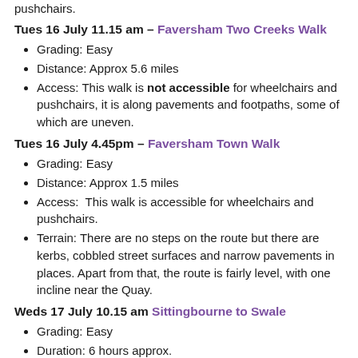pushchairs.
Tues 16 July 11.15 am – Faversham Two Creeks Walk
Grading: Easy
Distance: Approx 5.6 miles
Access: This walk is not accessible for wheelchairs and pushchairs, it is along pavements and footpaths, some of which are uneven.
Tues 16 July 4.45pm – Faversham Town Walk
Grading: Easy
Distance: Approx 1.5 miles
Access:  This walk is accessible for wheelchairs and pushchairs.
Terrain: There are no steps on the route but there are kerbs, cobbled street surfaces and narrow pavements in places. Apart from that, the route is fairly level, with one incline near the Quay.
Weds 17 July 10.15 am Sittingbourne to Swale
Grading: Easy
Duration: 6 hours approx.